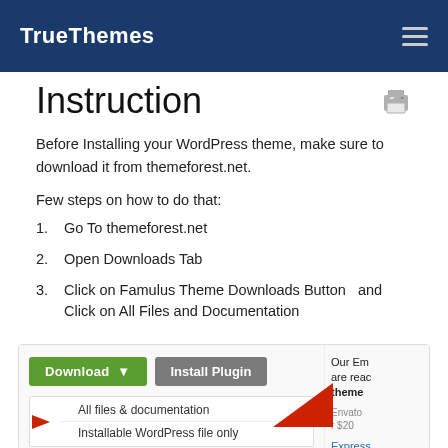TrueThemes
Instruction
Before Installing your WordPress theme, make sure to download it from themeforest.net.
Few steps on how to do that:
1. Go To themeforest.net
2. Open Downloads Tab
3. Click on Famulus Theme Downloads Button  and Click on All Files and Documentation
[Figure (screenshot): Screenshot showing Download and Install Plugin buttons with a dropdown showing 'All files & documentation' and 'Installable WordPress file only' options, with a red arrow pointing to the All files option. Right side shows partial text about Envato Express theme.]